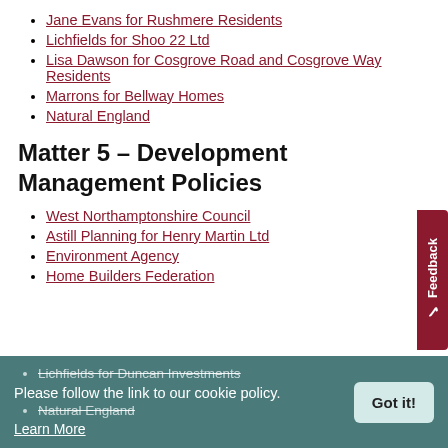Jane Evans for Rushmere Residents
Lichfields for Shoo 22 Ltd
Lisa Dawson for Cosgrove Road and Cosgrove Way Residents
Marrons for Bellway Homes
Natural England
Matter 5 – Development Management Policies
West Northamptonshire Council
Astill Planning for Henry Martin Ltd
Environment Agency
Home Builders Federation
Lichfields for Duncan Investments
Natural England
Please follow the link to our cookie policy.
Learn More